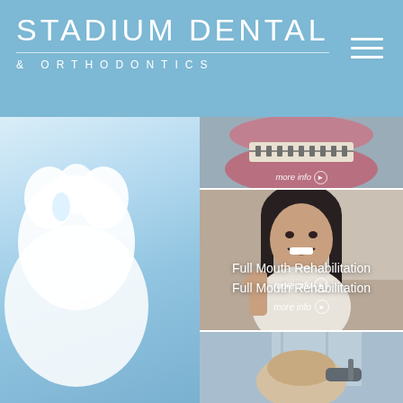STADIUM DENTAL & ORTHODONTICS
[Figure (photo): Dental website screenshot showing Stadium Dental & Orthodontics header with blue background, hamburger menu, and three service cards: close-up of braces/mouth with 'more info' button, woman smiling giving thumbs up for 'Full Mouth Rehabilitation' with 'more info' button, and partial view of dental procedure. Blurred tooth model on left background and dental tools on right background.]
Full Mouth Rehabilitation
more info